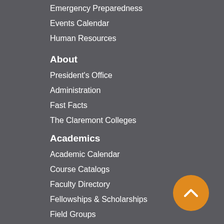Emergency Preparedness
Events Calendar
Human Resources
About
President's Office
Administration
Fast Facts
The Claremont Colleges
Academics
Academic Calendar
Course Catalogs
Faculty Directory
Fellowships & Scholarships
Field Groups
Admission & Financial Aid
Applying
Events